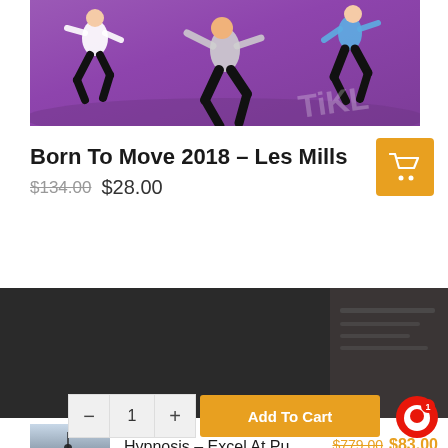[Figure (photo): Three dancers jumping against a purple background, wearing dark athletic clothes. Website product image for Born To Move 2018 fitness program.]
Born To Move 2018 – Les Mills
$134.00  $28.00
[Figure (screenshot): Dark banner section showing a partially visible product image on the right side with dark background overlay.]
[Figure (photo): Small product thumbnail image for Hypnosis - Excel At Pu course showing a figure near a tower/pole in a misty landscape.]
Hypnosis – Excel At Pu
$779.00  $83.00
– 1 +  Add To Cart